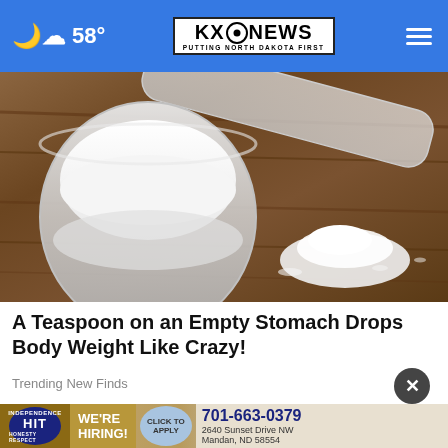58° KXO NEWS PUTTING NORTH DAKOTA FIRST
[Figure (photo): A plastic measuring scoop filled with white powder on a wooden surface, with a small pile of white powder beside it.]
A Teaspoon on an Empty Stomach Drops Body Weight Like Crazy!
Trending New Finds
[Figure (infographic): HIT Independence Respect hiring advertisement banner showing 'We're Hiring! Click To Apply 701-663-0379 2640 Sunset Drive NW Mandan, ND 58554']